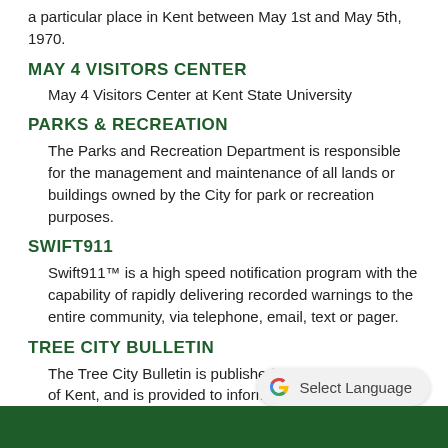a particular place in Kent between May 1st and May 5th, 1970.
MAY 4 VISITORS CENTER
May 4 Visitors Center at Kent State University
PARKS & RECREATION
The Parks and Recreation Department is responsible for the management and maintenance of all lands or buildings owned by the City for park or recreation purposes.
SWIFT911
Swift911™ is a high speed notification program with the capability of rapidly delivering recorded warnings to the entire community, via telephone, email, text or pager.
TREE CITY BULLETIN
The Tree City Bulletin is published quarterly by the City of Kent, and is provided to inform residents and businesses about City programs and services.
[Figure (logo): Google G logo with 'Select Language' button]